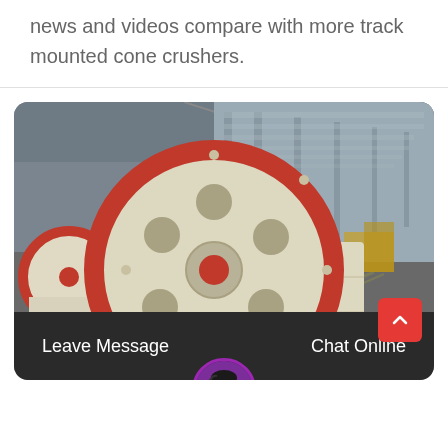news and videos compare with more track mounted cone crushers.
[Figure (photo): Industrial jaw crusher machine with large red-rimmed flywheel in a factory/warehouse setting. The machine is cream/beige colored with a prominent circular flywheel featuring a red outer rim and a red center hub, photographed inside a large industrial facility with high ceilings and concrete flooring.]
Leave Message
Chat Online